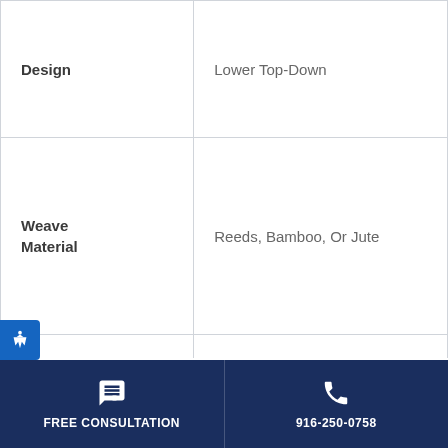| Property | Value |
| --- | --- |
| Design | Lower Top-Down |
| Weave Material | Reeds, Bamboo, Or Jute |
| Hardware | Natural Wood
Metal |
| Extra | Button Rail... |
FREE CONSULTATION | 916-250-0758